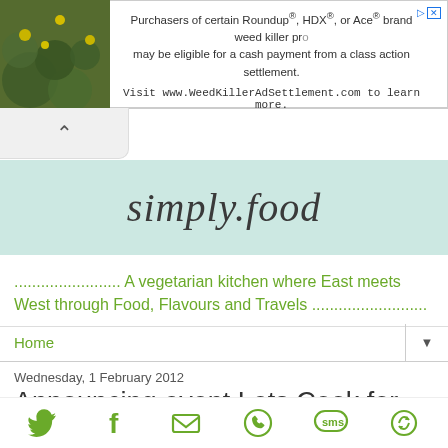[Figure (screenshot): Advertisement banner with plant image on left and text about Roundup weed killer class action settlement on right]
[Figure (other): Chevron/up arrow button area]
[Figure (logo): simply.food blog logo in cursive script on light teal background]
........................ A vegetarian kitchen where East meets West through Food, Flavours and Travels ..........................
Home
Wednesday, 1 February 2012
Announcing event Lets Cook for Valentines (chocolate/hearts)
[Figure (other): Social sharing icons row: Twitter, Facebook, Email, WhatsApp, SMS, ShareThis]